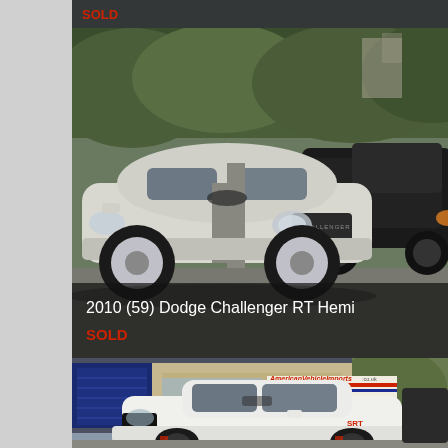[Figure (photo): Partial top of a previous car listing card, cropped at top of page, showing a grey/dark background with a red SOLD label]
[Figure (photo): 2010 (59) Dodge Challenger RT Hemi in silver/white with grey racing stripe, parked in a lot next to a black pickup truck, UK registration plate LK59]
2010 (59) Dodge Challenger RT Hemi
SOLD
[Figure (photo): White Dodge Challenger SRT with black wheels parked in front of an American Vehicles dealership building with red and blue stripes signage reading AmericanVehicleImports.co.uk]